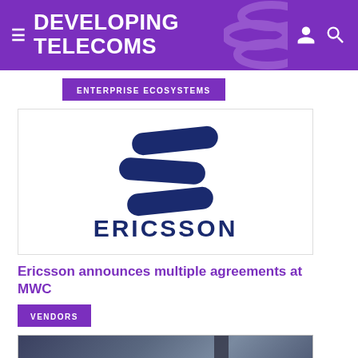DEVELOPING TELECOMS
ENTERPRISE ECOSYSTEMS
[Figure (logo): Ericsson logo — three blue rounded bars (stacked in a zigzag pattern) above the word ERICSSON in dark blue bold capitals on a white background]
Ericsson announces multiple agreements at MWC
VENDORS
[Figure (photo): Partial photo, dark tones, appears to show a person or figure with a purple circular element visible at lower left, against a grey-blue background with a vertical dark bar]